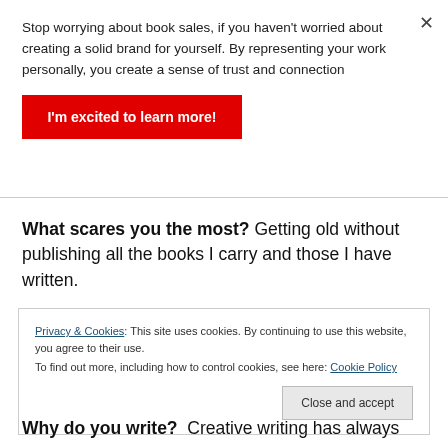Stop worrying about book sales, if you haven't worried about creating a solid brand for yourself. By representing your work personally, you create a sense of trust and connection
[Figure (other): Red CTA button with white bold text: I'm excited to learn more!]
What scares you the most? Getting old without publishing all the books I carry and those I have written.
Privacy & Cookies: This site uses cookies. By continuing to use this website, you agree to their use.
To find out more, including how to control cookies, see here: Cookie Policy
[Figure (other): Close and accept button]
Why do you write? Creative writing has always